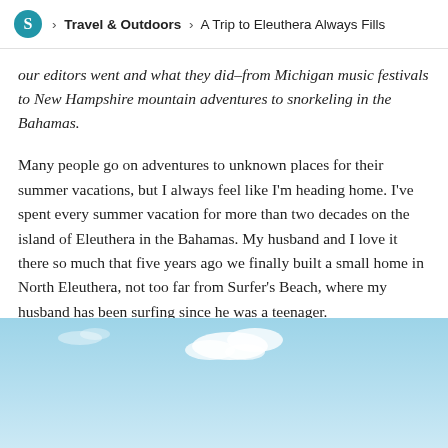S > Travel & Outdoors > A Trip to Eleuthera Always Fills
our editors went and what they did–from Michigan music festivals to New Hampshire mountain adventures to snorkeling in the Bahamas.
Many people go on adventures to unknown places for their summer vacations, but I always feel like I'm heading home. I've spent every summer vacation for more than two decades on the island of Eleuthera in the Bahamas. My husband and I love it there so much that five years ago we finally built a small home in North Eleuthera, not too far from Surfer's Beach, where my husband has been surfing since he was a teenager.
[Figure (photo): Blue sky with white clouds, likely over a tropical beach scene in the Bahamas]